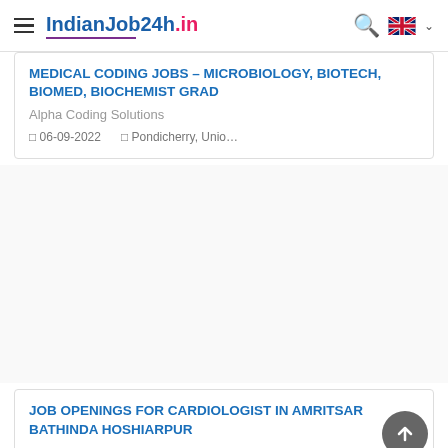IndianJob24h.in
MEDICAL CODING JOBS – MICROBIOLOGY, BIOTECH, BIOMED, BIOCHEMIST GRAD
Alpha Coding Solutions
06-09-2022   Pondicherry, Unio…
JOB OPENINGS FOR CARDIOLOGIST IN AMRITSAR BATHINDA HOSHIARPUR
Great Coaches HR Consultants
04-09-2022   Pathankot, Punjab
FOOD PRODUCTION MANAGER
Radhev Recruiter